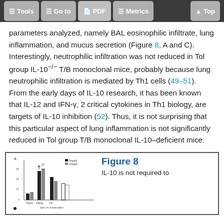Tools | Go to | PDF | Metrics | Top
parameters analyzed, namely BAL eosinophilic infiltrate, lung inflammation, and mucus secretion (Figure 8, A and C). Interestingly, neutrophilic infiltration was not reduced in Tol group IL-10−/− T/B monoclonal mice, probably because lung neutrophilic infiltration is mediated by Th1 cells (49–51). From the early days of IL-10 research, it has been known that IL-12 and IFN-γ, 2 critical cytokines in Th1 biology, are targets of IL-10 inhibition (52). Thus, it is not surprising that this particular aspect of lung inflammation is not significantly reduced in Tol group T/B monoclonal IL-10–deficient mice.
[Figure (bar-chart): Bar chart showing BAL cell counts across experimental groups with error bars]
Figure 8
IL-10 is not required to